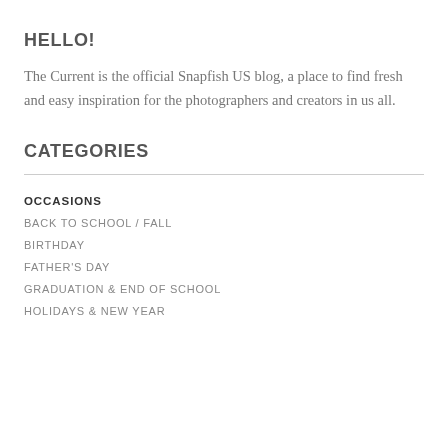HELLO!
The Current is the official Snapfish US blog, a place to find fresh and easy inspiration for the photographers and creators in us all.
CATEGORIES
OCCASIONS
BACK TO SCHOOL / FALL
BIRTHDAY
FATHER'S DAY
GRADUATION & END OF SCHOOL
HOLIDAYS & NEW YEAR